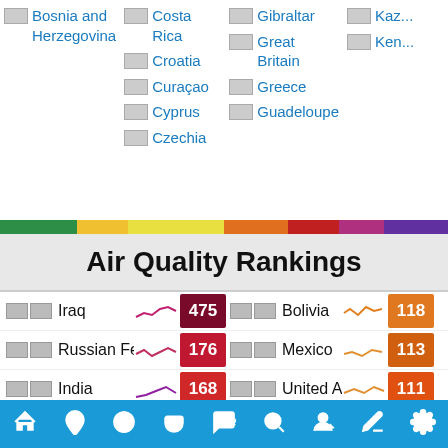Bosnia and Herzegovina
Costa Rica
Gibraltar
Kaz...
Croatia
Great Britain
Ken...
Curaçao
Greece
Cyprus
Guadeloupe
Czechia
Air Quality Rankings
| Country | Value | Country | Value |
| --- | --- | --- | --- |
| Iraq | 475 | Bolivia | 118 |
| Russian Fe... | 176 | Mexico | 113 |
| India | 168 | United Ara... | 111 |
| Bahrain | 161 | Angola | 106 |